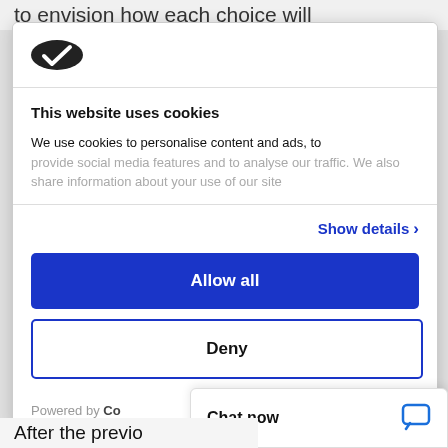to envision how each choice will
[Figure (logo): Cookiebot logo — dark oval with white checkmark]
This website uses cookies
We use cookies to personalise content and ads, to provide social media features and to analyse our traffic. We also share information about your use of our site
Show details ›
Allow all
Deny
Powered by Co
Chat now
After the previo